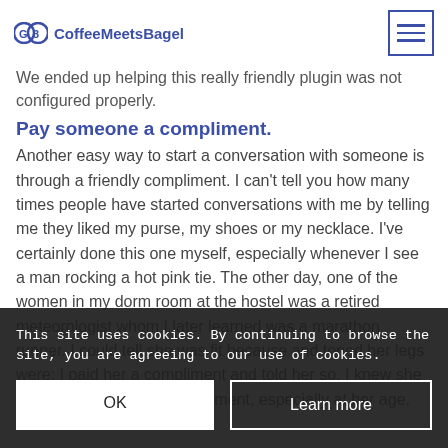CoffeeMeetsBagel
We ended up helping this really friendly plugin was not configured properly.
Pay someone a compliment.
Another easy way to start a conversation with someone is through a friendly compliment. I can't tell you how many times people have started conversations with me by telling me they liked my purse, my shoes or my necklace. I've certainly done this one myself, especially whenever I see a man rocking a hot pink tie. The other day, one of the women in my dorm room at the hostel was a retired meteorologist whom I later learned was a marathon runner. I could tell she was fit because and toned her legs were; I paid her a compliment and told her so. I knew she would appreciate the compliment, especially at her age, and she most
This site uses cookies. By continuing to browse the site, you are agreeing to our use of cookies.